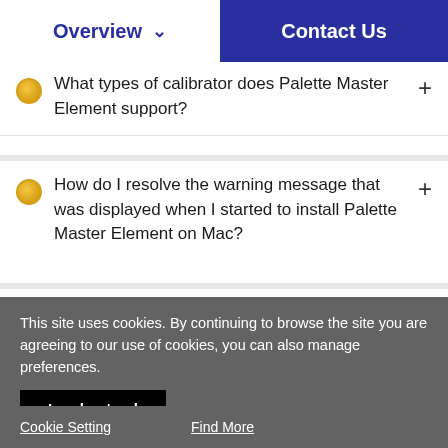Overview  Contact Us
What types of calibrator does Palette Master Element support?
How do I resolve the warning message that was displayed when I started to install Palette Master Element on Mac?
This site uses cookies. By continuing to browse the site you are agreeing to our use of cookies, you can also manage preferences.
I understand
Cookie Setting
Find More